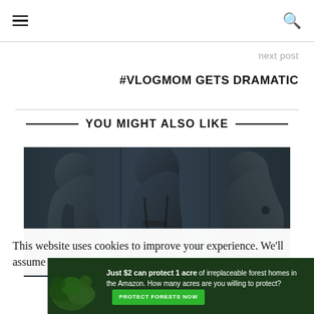Navigation header with hamburger menu and search icon
next post
#VLOGMOM GETS DRAMATIC
YOU MIGHT ALSO LIKE
[Figure (photo): Dark monochrome photo showing three stylized sculptural figures with rounded heads against a dark background]
This website uses cookies to improve your experience. We'll assume
[Figure (infographic): Green forest advertisement banner: 'Just $2 can protect 1 acre of irreplaceable forest homes in the Amazon. How many acres are you willing to protect?' with a green PROTECT FORESTS NOW button]